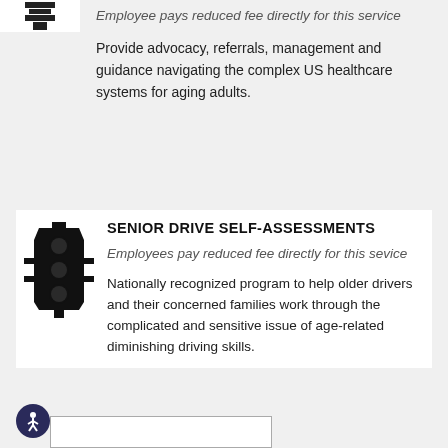Employee pays reduced fee directly for this service
Provide advocacy, referrals, management and guidance navigating the complex US healthcare systems for aging adults.
SENIOR DRIVE SELF-ASSESSMENTS
Employees pay reduced fee directly for this sevice
Nationally recognized program to help older drivers and their concerned families work through the complicated and sensitive issue of age-related diminishing driving skills.